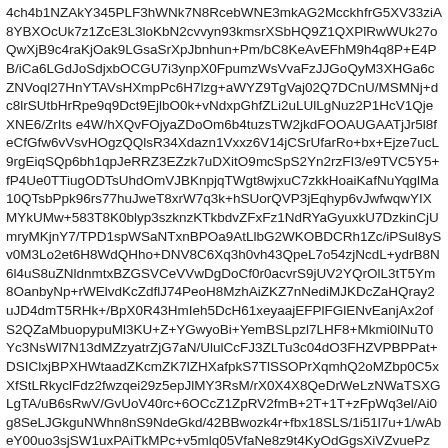4ch4b1NZAkY345PLF3hWNk7N8RcebWNE3mkAG2McckhfrG5XV33ziA8YBXOcUk7z1ZcE3L3loKbN2cvvyn93kmsrXSbHQ9Z1QXPlRwWUk27oQwXjB9c4raKjOak9LGsaSrXpJbnhun+Pm/bC8KeAvEFhM9h4q8P+E4PB/iCa6LGdJoSdjxbOCGU7i3ynpX0FpumzWsVvaFzJJGoQyM3XHGa6cZNVoql27HnYTAVsHXmpPc6H7lzg+aWYZ9TgVaj02Q7DCnU/MSMNj+dc8lrSUtbHrRpe9q9Dct9EjlbO0k+vNdxpGhfZLi2uLUlLgNuz2P1HcV1QjeXNE6/ZrIts e4W/hXQvFOjyaZDoOm6b4tuzsTW2jkdFOOAUGAATjJr5l8feCfGfw6vVsvHOgzQQlsR34Xdazn1Vxxz6V14jCSrUfarRo+bx+Ejze7ucL9rgEiqSQp6bh1qpJeRRZ3EZzk7uDXitO9mcSpS2Yn2rzFI3/e9TVC5Y5+fP4Ue0TTiugODTsUhdOmVJBKnpjqTWgt8wjxuC7zkkHoaiKafNuYqglMa10QTsbPpk96rs77huJweT8xrW7q3k+hSUorQVP3jEqhyp6vJwfwqwYIXMYkUMw+583T8K0blyp3szknzKTkbdvZFxFz1NdRYaGyuxkU7DzkinCjUmryMKjnY7/TPD1spWSaNTxnBPOa9AtLlbG2WKOBDCRh1Zc/iPSul8ySv0M3Lo2et6H8WdQHho+DNV8C6Xq3h0vh43QpeL7o54zjNcdL+ydrB8N6l4uS8uZNldnmtxBZGSVCeVVwDgDoCf0r0acvrS9jUV2YQrOlL3tT5Ym8OanbyNp+rWElvdKcZdflJ74PeoH8MzhAiZKZ7nNediMJKDcZaHQray2uJD4dmT5RHk+/BpX0R43HmIeh5DcH61xeyaajEFPlFGlENvEanjAx2ofS2QZaMbuopypuMl3KU+Z+YGwyoBi+YemBSLpzl7LHF8+Mkmi0lNuT0Yc3NsWl7N13dMZzyatrZjG7aN/UlulCcFJ3ZLTu3c04dO3FHZVPBPPat+DSIClxjBPXHWtaadZKcmZK7lZHXafpkS7TlSSOPrXqmhQ2oMZbp0C5xXfStLRkyclFdz2fwzqei29z5epJlMY3RsM/rX0X4X8QeDrWeLzNWaTSXGLgTA/uB6sRwV/GvUoV40rc+6OCcZ1ZpRV2fmB+2T+1T+zFpWq3el/Ai0g8SeLJGkguNWhn8nS9NdeGkd/42BBwozk4r+fbx18SLS/1i51l7u+1/wAbeY00uo3sjSW1uxPAiTkMPc+v5mlq05VfaNe8z9t4KyOdGgsXiVZvuePzW/iHxVfS6lq11JdX0nOZs8n6dhXZ/CXTFlb4wfDi01nwBeeK/B+navDN4h8N6cSZbm23fvETH8ZXJXPBlGeM1pRp